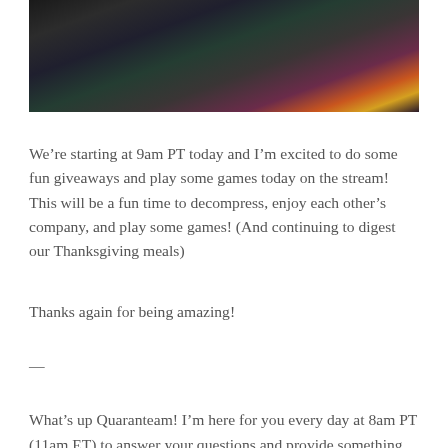[Figure (photo): A person wearing a black t-shirt, sitting at what appears to be a streaming/gaming setup with colorful items visible in the background including yellow and pink/red objects.]
We’re starting at 9am PT today and I’m excited to do some fun giveaways and play some games today on the stream! This will be a fun time to decompress, enjoy each other’s company, and play some games! (And continuing to digest our Thanksgiving meals)
Thanks again for being amazing!
—
What’s up Quaranteam! I’m here for you every day at 8am PT (11am ET) to answer your questions and provide something regular each day we can look forward to. It’s especially important during these times when normal has kind of been thrown out the window.